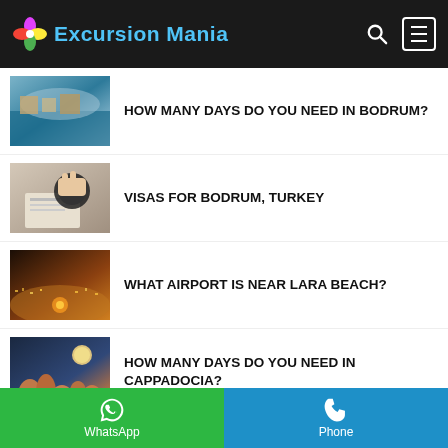Excursion Mania
HOW MANY DAYS DO YOU NEED IN BODRUM?
[Figure (photo): Aerial view of Bodrum coastline with blue sea]
VISAS FOR BODRUM, TURKEY
[Figure (photo): Hand holding a rubber stamp over a document]
WHAT AIRPORT IS NEAR LARA BEACH?
[Figure (photo): Night aerial view of illuminated city near water]
HOW MANY DAYS DO YOU NEED IN CAPPADOCIA?
[Figure (photo): Cappadocia landscape at night with moon]
WhatsApp | Phone